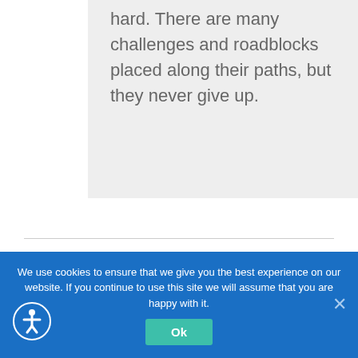hard. There are many challenges and roadblocks placed along their paths, but they never give up.
We use cookies to ensure that we give you the best experience on our website. If you continue to use this site we will assume that you are happy with it.